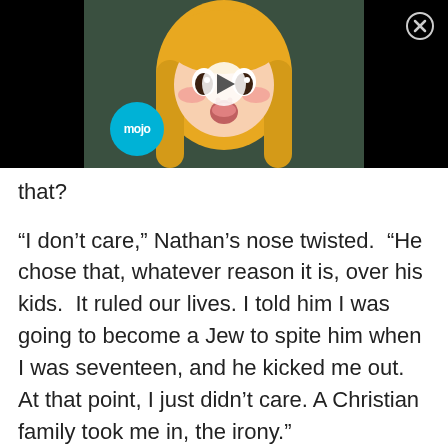[Figure (screenshot): Video thumbnail showing anime girl character with blonde hair, a WatchMojo play button overlay, mojo logo badge, and close button in top right corner]
that?
“I don’t care,” Nathan’s nose twisted.  “He chose that, whatever reason it is, over his kids.  It ruled our lives. I told him I was going to become a Jew to spite him when I was seventeen, and he kicked me out.  At that point, I just didn’t care. A Christian family took me in, the irony.”
“Were they nice?”